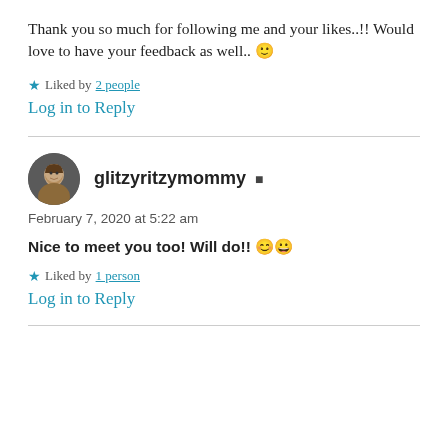Thank you so much for following me and your likes..!! Would love to have your feedback as well.. 🙂
★ Liked by 2 people
Log in to Reply
glitzyritzymommy ▲
February 7, 2020 at 5:22 am
Nice to meet you too! Will do!! 😊😀
★ Liked by 1 person
Log in to Reply